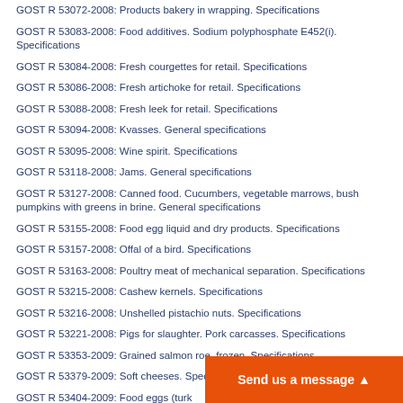GOST R 53072-2008: Products bakery in wrapping. Specifications
GOST R 53083-2008: Food additives. Sodium polyphosphate E452(i). Specifications
GOST R 53084-2008: Fresh courgettes for retail. Specifications
GOST R 53086-2008: Fresh artichoke for retail. Specifications
GOST R 53088-2008: Fresh leek for retail. Specifications
GOST R 53094-2008: Kvasses. General specifications
GOST R 53095-2008: Wine spirit. Specifications
GOST R 53118-2008: Jams. General specifications
GOST R 53127-2008: Canned food. Cucumbers, vegetable marrows, bush pumpkins with greens in brine. General specifications
GOST R 53155-2008: Food egg liquid and dry products. Specifications
GOST R 53157-2008: Offal of a bird. Specifications
GOST R 53163-2008: Poultry meat of mechanical separation. Specifications
GOST R 53215-2008: Cashew kernels. Specifications
GOST R 53216-2008: Unshelled pistachio nuts. Specifications
GOST R 53221-2008: Pigs for slaughter. Pork carcasses. Specifications
GOST R 53353-2009: Grained salmon roe, frozen. Specifications
GOST R 53379-2009: Soft cheeses. Specifications
GOST R 53404-2009: Food eggs (turk… Specifications